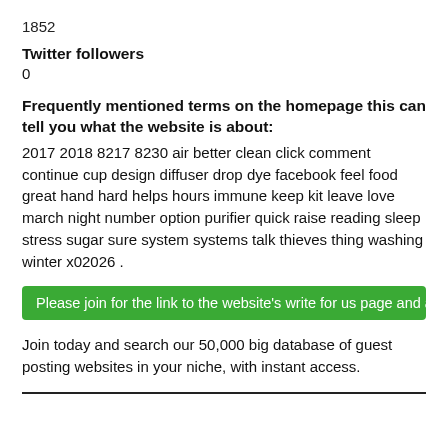1852
Twitter followers
0
Frequently mentioned terms on the homepage this can tell you what the website is about:
2017 2018 8217 8230 air better clean click comment continue cup design diffuser drop dye facebook feel food great hand hard helps hours immune keep kit leave love march night number option purifier quick raise reading sleep stress sugar sure system systems talk thieves thing washing winter x02026 .
Please join for the link to the website's write for us page and access to
Join today and search our 50,000 big database of guest posting websites in your niche, with instant access.